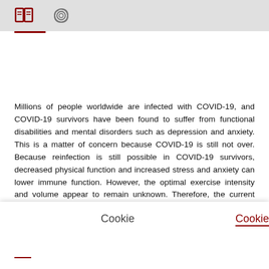[Header with book logo and spiral logo icons]
Millions of people worldwide are infected with COVID-19, and COVID-19 survivors have been found to suffer from functional disabilities and mental disorders such as depression and anxiety. This is a matter of concern because COVID-19 is still not over. Because reinfection is still possible in COVID-19 survivors, decreased physical function and increased stress and anxiety can lower immune function. However, the optimal exercise intensity and volume appear to remain unknown. Therefore, the current systematic review aimed to evaluate the effect of resistance or
Cookie
Cookie